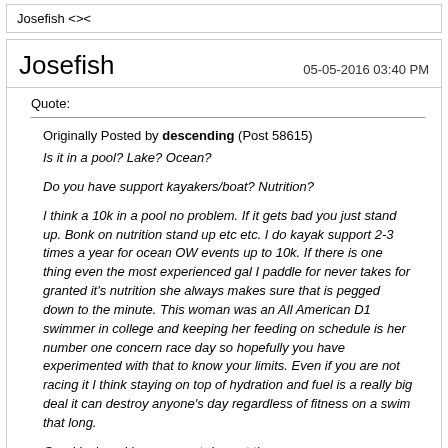Josefish <><
Josefish
05-05-2016 03:40 PM
Quote:
Originally Posted by descending (Post 58615)
Is it in a pool? Lake? Ocean?

Do you have support kayakers/boat? Nutrition?

I think a 10k in a pool no problem. If it gets bad you just stand up. Bonk on nutrition stand up etc etc. I do kayak support 2-3 times a year for ocean OW events up to 10k. If there is one thing even the most experienced gal I paddle for never takes for granted it's nutrition she always makes sure that is pegged down to the minute. This woman was an All American D1 swimmer in college and keeping her feeding on schedule is her number one concern race day so hopefully you have experimented with that to know your limits. Even if you are not racing it I think staying on top of hydration and fuel is a really big deal it can destroy anyone's day regardless of fitness on a swim that long.

Good luck and have a great day out there.